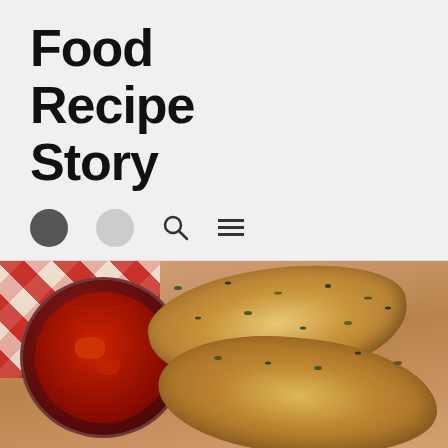Food Recipe Story
Explore Our Food Recipes and Cooking Tips
[Figure (photo): Calzone pastries with tomato dipping sauce on a wooden cutting board with a red and white checkered cloth]
PREVIOUS POST
NEXT POST